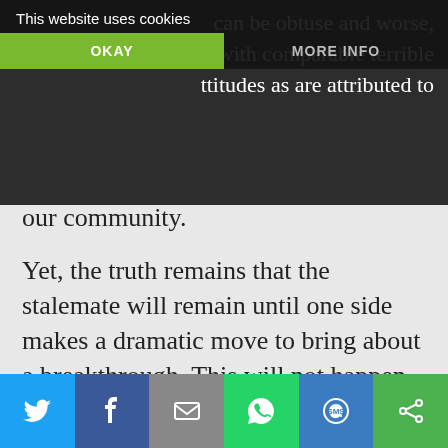can be obtuse and worse, with comparable terrible ttitudes as are attributed to
This website uses cookies
OKAY
MORE INFO
our community.

Yet, the truth remains that the stalemate will remain until one side makes a dramatic move to bring about a breakthrough. This will not happen by insisting the other guy remove the mite from his eye first.
[Figure (screenshot): Social sharing bar with Twitter, Facebook, Email, WhatsApp, SMS, and another sharing icon buttons]